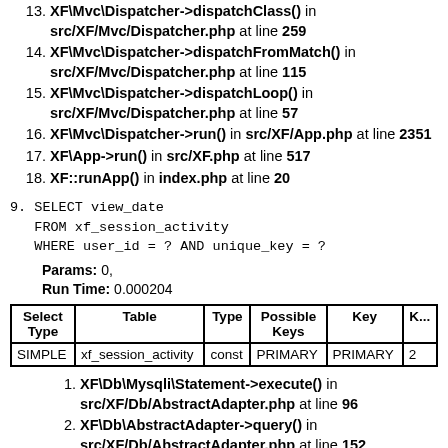13. XF\Mvc\Dispatcher->dispatchClass() in src/XF/Mvc/Dispatcher.php at line 259
14. XF\Mvc\Dispatcher->dispatchFromMatch() in src/XF/Mvc/Dispatcher.php at line 115
15. XF\Mvc\Dispatcher->dispatchLoop() in src/XF/Mvc/Dispatcher.php at line 57
16. XF\Mvc\Dispatcher->run() in src/XF/App.php at line 2351
17. XF\App->run() in src/XF.php at line 517
18. XF::runApp() in index.php at line 20
9. SELECT view_date
   FROM xf_session_activity
   WHERE user_id = ? AND unique_key = ?
Params: 0,
Run Time: 0.000204
| Select Type | Table | Type | Possible Keys | Key | K... |
| --- | --- | --- | --- | --- | --- |
| SIMPLE | xf_session_activity | const | PRIMARY | PRIMARY | 2 |
1. XF\Db\Mysqli\Statement->execute() in src/XF/Db/AbstractAdapter.php at line 96
2. XF\Db\AbstractAdapter->query() in src/XF/Db/AbstractAdapter.php at line 152